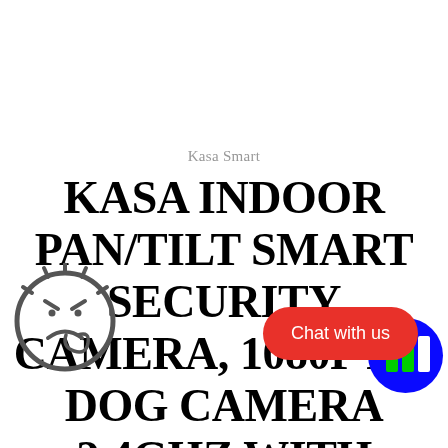Kasa Smart
KASA INDOOR PAN/TILT SMART SECURITY CAMERA, 1080P HD DOG CAMERA 2.4GHZ WITH NIGHT VISION, MOTION DETECTION FOR... AND PET MONITOR,
[Figure (illustration): Angry emoji / cartoon face icon, bottom-left corner]
[Figure (illustration): Red pill-shaped chat button with text 'Chat with us']
[Figure (illustration): Blue circle with green/white graphic, bottom-right corner]